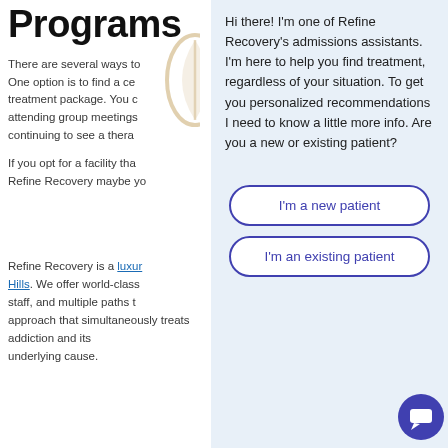Programs
There are several ways to... One option is to find a ce... treatment package. You c... attending group meetings... continuing to see a thera...
If you opt for a facility tha... Refine Recovery maybe yo...
Refine Recovery is a luxur... Hills. We offer world-class... staff, and multiple paths t... approach that simultaneously treats addiction and its underlying cause.
[Figure (screenshot): Chat widget overlay on right side showing admissions assistant message and two buttons: I'm a new patient, I'm an existing patient]
Hi there! I'm one of Refine Recovery's admissions assistants. I'm here to help you find treatment, regardless of your situation. To get you personalized recommendations I need to know a little more info. Are you a new or existing patient?